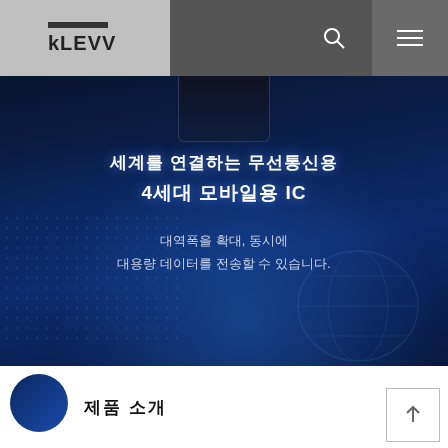[Figure (logo): KLEVV logo in white on gray background]
[Figure (photo): Dark blue hero banner with digital globe/world map pattern and smartphone device at top. Korean text overlay on dark blue background.]
세계를 연결하는 무선통신용
4세대 모바일용 IC
대역폭을 확대, 동시에
대용량 데이터를 전송할 수 있습니다.
[Figure (illustration): Blue circle icon/logo in white section]
제품 소개